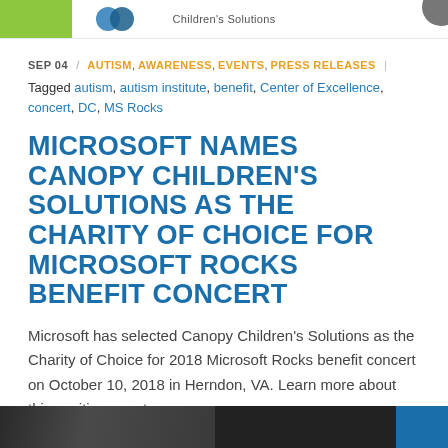Children's Solutions
SEP 04 / AUTISM, AWARENESS, EVENTS, PRESS RELEASES | Tagged autism, autism institute, benefit, Center of Excellence, concert, DC, MS Rocks
MICROSOFT NAMES CANOPY CHILDREN'S SOLUTIONS AS THE CHARITY OF CHOICE FOR MICROSOFT ROCKS BENEFIT CONCERT
Microsoft has selected Canopy Children's Solutions as the Charity of Choice for 2018 Microsoft Rocks benefit concert on October 10, 2018 in Herndon, VA. Learn more about this exciting event.
[Figure (photo): Bottom strip showing a dark photo/image on the left and a blue block on the right]